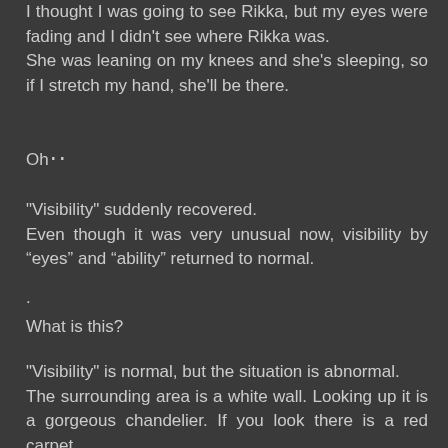I thought I was going to see Rikka, but my eyes were fading and I didn't see where Rikka was.
She was leaning on my knees and she's sleeping, so if I stretch my hand, she'll be there.
Oh・・
"Visibility" suddenly recovered.
Even though it was very unusual now, visibility by “eyes” and “ability” returned to normal.
·
What is this?
"Visibility" is normal, but the situation is abnormal.
The surrounding area is a white wall. Looking up it is a gorgeous chandelier. If you look there is a red carpet.
You can see things like the terrace at the tip of the big window. And the Big Moon is the perfect starry sky.
"Funny"